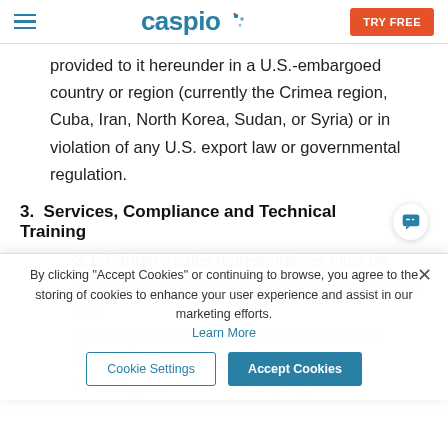Caspio — TRY FREE
provided to it hereunder in a U.S.-embargoed country or region (currently the Crimea region, Cuba, Iran, North Korea, Sudan, or Syria) or in violation of any U.S. export law or governmental regulation.
3.  Services, Compliance and Technical Training
3.1. Partner's sales representatives must be
[cookie banner overlay] By clicking "Accept Cookies" or continuing to browse, you agree to the storing of cookies to enhance your user experience and assist in our marketing efforts. Learn More
generally knowledgeable about the Services and ... a high-level familiarity and ... sampling